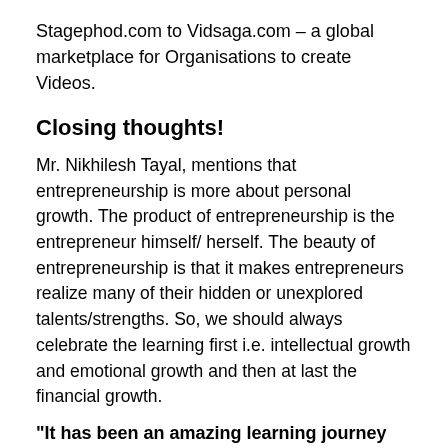Stagephod.com to Vidsaga.com – a global marketplace for Organisations to create Videos.
Closing thoughts!
Mr. Nikhilesh Tayal, mentions that entrepreneurship is more about personal growth. The product of entrepreneurship is the entrepreneur himself/ herself. The beauty of entrepreneurship is that it makes entrepreneurs realize many of their hidden or unexplored talents/strengths. So, we should always celebrate the learning first i.e. intellectual growth and emotional growth and then at last the financial growth.
“It has been an amazing learning journey